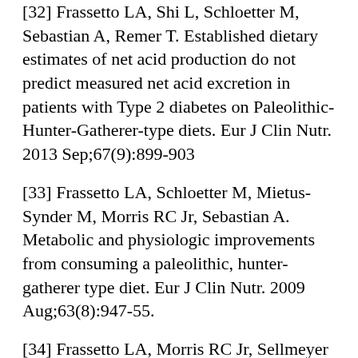[32] Frassetto LA, Shi L, Schloetter M, Sebastian A, Remer T. Established dietary estimates of net acid production do not predict measured net acid excretion in patients with Type 2 diabetes on Paleolithic-Hunter-Gatherer-type diets. Eur J Clin Nutr. 2013 Sep;67(9):899-903
[33] Frassetto LA, Schloetter M, Mietus-Synder M, Morris RC Jr, Sebastian A. Metabolic and physiologic improvements from consuming a paleolithic, hunter-gatherer type diet. Eur J Clin Nutr. 2009 Aug;63(8):947-55.
[34] Frassetto LA, Morris RC Jr, Sellmeyer DE, Sebastian A. Adverse effects of sodium chloride on bone in the aging human population resulting from habitual consumption of typical American diets. J